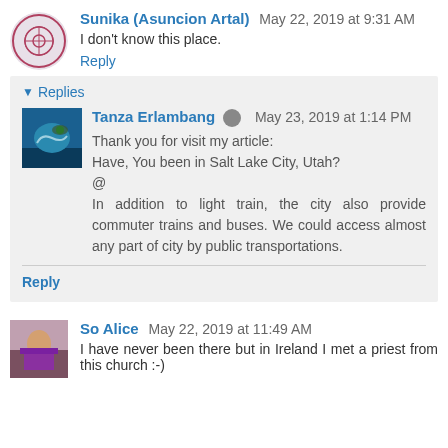Sunika (Asuncion Artal) May 22, 2019 at 9:31 AM
I don't know this place.
Reply
Replies
Tanza Erlambang May 23, 2019 at 1:14 PM
Thank you for visit my article:
Have, You been in Salt Lake City, Utah?
@
In addition to light train, the city also provide commuter trains and buses. We could access almost any part of city by public transportations.
Reply
So Alice May 22, 2019 at 11:49 AM
I have never been there but in Ireland I met a priest from this church :-)